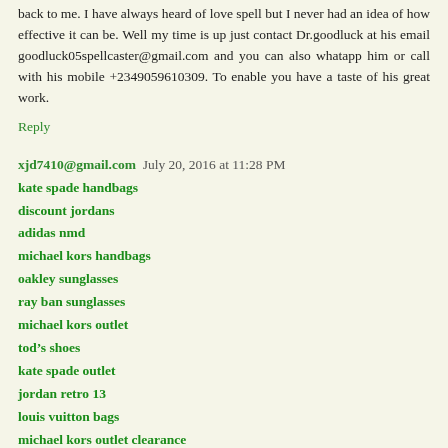back to me. I have always heard of love spell but I never had an idea of how effective it can be. Well my time is up just contact Dr.goodluck at his email goodluck05spellcaster@gmail.com and you can also whatapp him or call with his mobile +2349059610309. To enable you have a taste of his great work.
Reply
xjd7410@gmail.com July 20, 2016 at 11:28 PM
kate spade handbags
discount jordans
adidas nmd
michael kors handbags
oakley sunglasses
ray ban sunglasses
michael kors outlet
tod’s shoes
kate spade outlet
jordan retro 13
louis vuitton bags
michael kors outlet clearance
louis vuitton bags